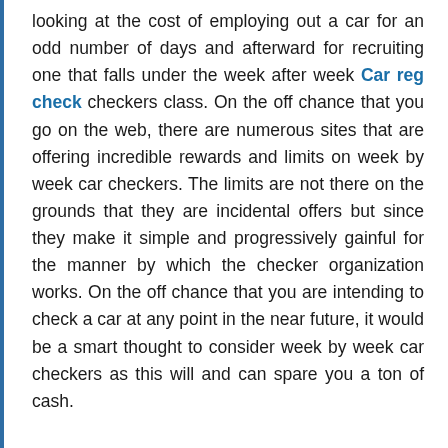looking at the cost of employing out a car for an odd number of days and afterward for recruiting one that falls under the week after week Car reg check checkers class. On the off chance that you go on the web, there are numerous sites that are offering incredible rewards and limits on week by week car checkers. The limits are not there on the grounds that they are incidental offers but since they make it simple and progressively gainful for the manner by which the checker organization works. On the off chance that you are intending to check a car at any point in the near future, it would be a smart thought to consider week by week car checkers as this will and can spare you a ton of cash.
Know More Essential Oils for Stress Relief